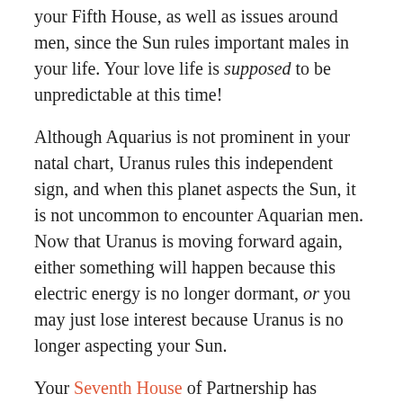your Fifth House, as well as issues around men, since the Sun rules important males in your life. Your love life is supposed to be unpredictable at this time!
Although Aquarius is not prominent in your natal chart, Uranus rules this independent sign, and when this planet aspects the Sun, it is not uncommon to encounter Aquarian men. Now that Uranus is moving forward again, either something will happen because this electric energy is no longer dormant, or you may just lose interest because Uranus is no longer aspecting your Sun.
Your Seventh House of Partnership has Taurus on its cusp, as well as Mars in Taurus. This house signifies the other person. It's likely that most guys you're interested in will be slow to act, so you'll need to be patient, especially since your Venus in Aries wants a relationship now. If you're really into this Aquarius man, it may be worthwhile